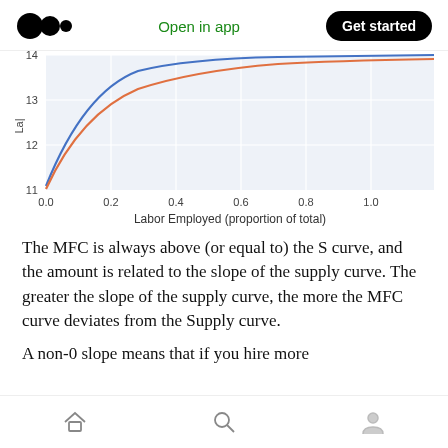Medium logo | Open in app | Get started
[Figure (continuous-plot): Two curves on a chart with x-axis 'Labor Employed (proportion of total)' ranging 0.0 to 1.0 and y-axis (La[bor]) ranging 11 to 14. An orange curve (S/Supply) and a blue curve (MFC) both rise steeply from the left and flatten out, with the blue MFC curve above the orange S curve.]
The MFC is always above (or equal to) the S curve, and the amount is related to the slope of the supply curve. The greater the slope of the supply curve, the more the MFC curve deviates from the Supply curve.
A non-0 slope means that if you hire more
Home | Search | Profile